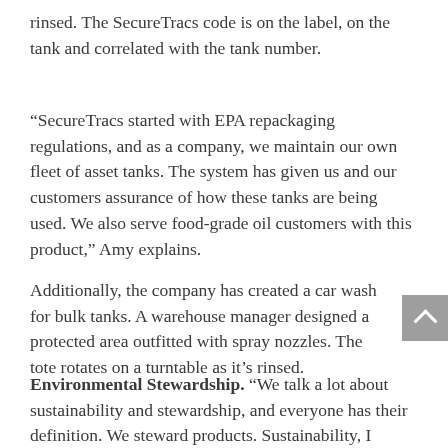rinsed. The SecureTracs code is on the label, on the tank and correlated with the tank number.
“SecureTracs started with EPA repackaging regulations, and as a company, we maintain our own fleet of asset tanks. The system has given us and our customers assurance of how these tanks are being used. We also serve food-grade oil customers with this product,” Amy explains.
Additionally, the company has created a car wash for bulk tanks. A warehouse manager designed a protected area outfitted with spray nozzles. The tote rotates on a turntable as it’s rinsed.
Environmental Stewardship. “We talk a lot about sustainability and stewardship, and everyone has their definition. We steward products. Sustainability, I